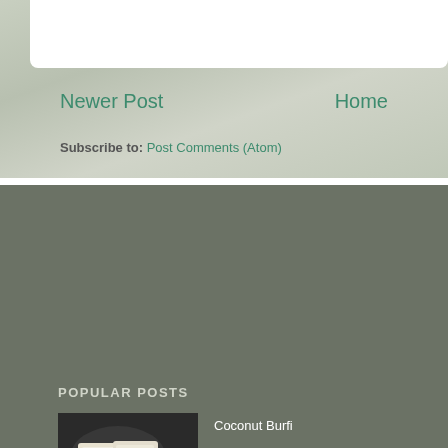Newer Post    Home
Subscribe to: Post Comments (Atom)
POPULAR POSTS
[Figure (photo): Photo of Coconut Burfi pieces on a dark plate]
Coconut Burfi
[Figure (photo): Photo of Canapes with Italian style corn in a bowl with crackers]
Canapes with Italian style corn
[Figure (photo): Photo of Masala Sprite/Masala Soda/Shikanji drink with a can]
Masala Sprite/Masala Soda/Shikanji Recipe